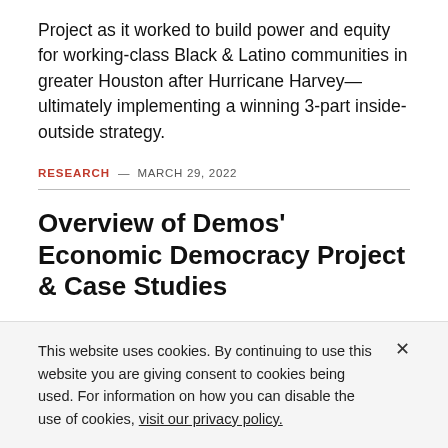Project as it worked to build power and equity for working-class Black & Latino communities in greater Houston after Hurricane Harvey—ultimately implementing a winning 3-part inside-outside strategy.
RESEARCH — MARCH 29, 2022
Overview of Demos' Economic Democracy Project & Case Studies
This website uses cookies. By continuing to use this website you are giving consent to cookies being used. For information on how you can disable the use of cookies, visit our privacy policy.